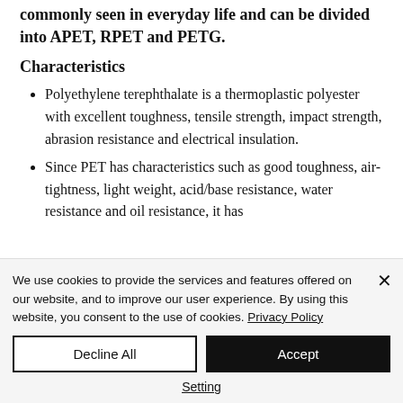commonly seen in everyday life and can be divided into APET, RPET and PETG.
Characteristics
Polyethylene terephthalate is a thermoplastic polyester with excellent toughness, tensile strength, impact strength, abrasion resistance and electrical insulation.
Since PET has characteristics such as good toughness, air-tightness, light weight, acid/base resistance, water resistance and oil resistance, it has
We use cookies to provide the services and features offered on our website, and to improve our user experience. By using this website, you consent to the use of cookies. Privacy Policy
Decline All
Accept
Setting